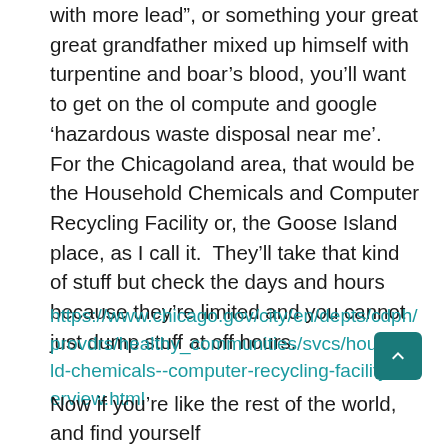with more lead”, or something your great great grandfather mixed up himself with turpentine and boar’s blood, you’ll want to get on the ol compute and google ‘hazardous waste disposal near me’.  For the Chicagoland area, that would be the Household Chemicals and Computer Recycling Facility or, the Goose Island place, as I call it.  They’ll take that kind of stuff but check the days and hours because they’re limited and you cannot just dump stuff at off hours.
https://www.chicago.gov/city/en/depts/cdph/provdrs/healthy_communities/svcs/household-chemicals--computer-recycling-facility-overview.html
Now if you’re like the rest of the world, and find yourself